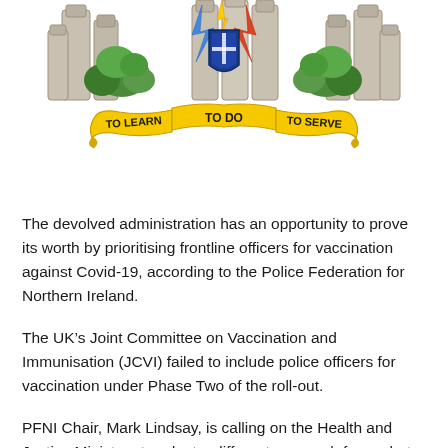[Figure (logo): Police Federation for Northern Ireland crest/badge with stone pillars, plants, flames, and a yellow ribbon banner reading 'TO LEARN', 'TO DO', 'TO SERVE']
The devolved administration has an opportunity to prove its worth by prioritising frontline officers for vaccination against Covid-19, according to the Police Federation for Northern Ireland.
The UK's Joint Committee on Vaccination and Immunisation (JCVI) failed to include police officers for vaccination under Phase Two of the roll-out.
PFNI Chair, Mark Lindsay, is calling on the Health and Justice Ministers to adopt a different approach from what is